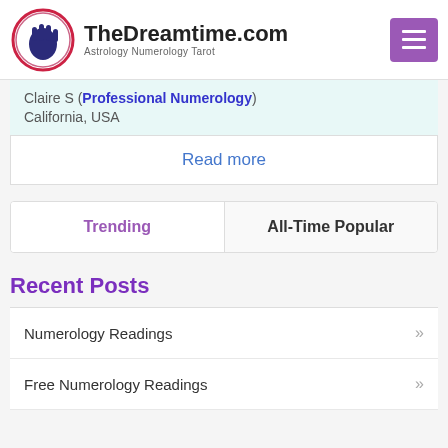TheDreamtime.com — Astrology Numerology Tarot
Claire S (Professional Numerology)
California, USA
Read more
Trending | All-Time Popular
Recent Posts
Numerology Readings
Free Numerology Readings